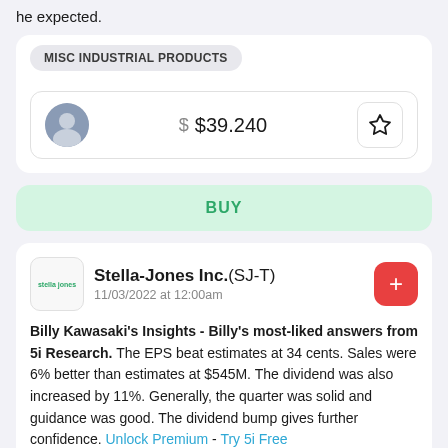he expected.
MISC INDUSTRIAL PRODUCTS
$ $39.240
BUY
Stella-Jones Inc.(SJ-T) 11/03/2022 at 12:00am
Billy Kawasaki's Insights - Billy's most-liked answers from 5i Research. The EPS beat estimates at 34 cents. Sales were 6% better than estimates at $545M. The dividend was also increased by 11%. Generally, the quarter was solid and guidance was good. The dividend bump gives further confidence. Unlock Premium - Try 5i Free